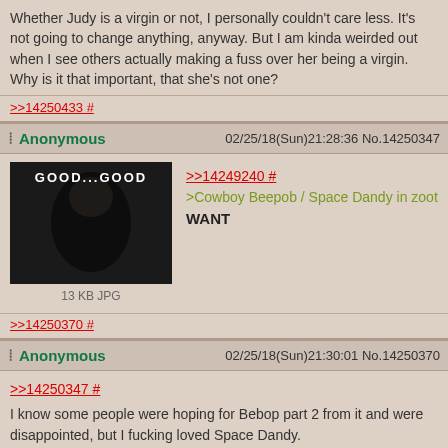Whether Judy is a virgin or not, I personally couldn't care less. It's not going to change anything, anyway. But I am kinda weirded out when I see others actually making a fuss over her being a virgin. Why is it that important, that she's not one?
>>14250433 #
Anonymous 02/25/18(Sun)21:28:36 No.14250347
[Figure (screenshot): Dark image with text 'GOOD...GOOD' overlaid, appears to be Emperor Palpatine meme]
13 KB JPG
>>14249240 #
>Cowboy Beepob / Space Dandy in zoot
WANT
>>14250370 #
Anonymous 02/25/18(Sun)21:30:01 No.14250370
>>14250347 #
I know some people were hoping for Bebop part 2 from it and were disappointed, but I fucking loved Space Dandy.
>>14250401 #
Anonymous 02/25/18(Sun)21:32:27 No.14250401